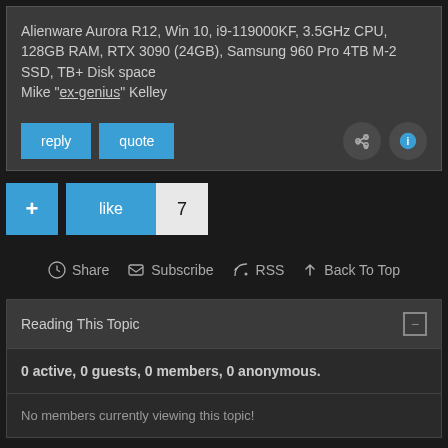Alienware Aurora R12, Win 10, i9-119000KF, 3.5GHz CPU, 128GB RAM, RTX 3090 (24GB), Samsung 960 Pro 4TB M-2 SSD, TB+ Disk space
Mike "ex-genius" Kelley
reply  quote
+ like 7
Share  Subscribe  RSS  Back To Top
Reading This Topic
0 active, 0 guests, 0 members, 0 anonymous.
No members currently viewing this topic!